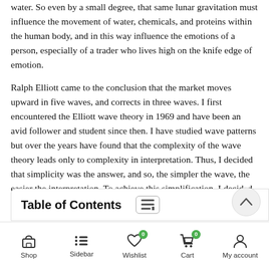water. So even by a small degree, that same lunar gravitation must influence the movement of water, chemicals, and proteins within the human body, and in this way influence the emotions of a person, especially of a trader who lives high on the knife edge of emotion.
Ralph Elliott came to the conclusion that the market moves upward in five waves, and corrects in three waves. I first encountered the Elliott wave theory in 1969 and have been an avid follower and student since then. I have studied wave patterns but over the years have found that the complexity of the wave theory leads only to complexity in interpretation. Thus, I decided that simplicity was the answer, and so, the simpler the wave, the easier the interpretation. To achieve this simplification, I decided on the following set of rules.
Table of Contents
Shop  Sidebar  Wishlist  Cart  My account